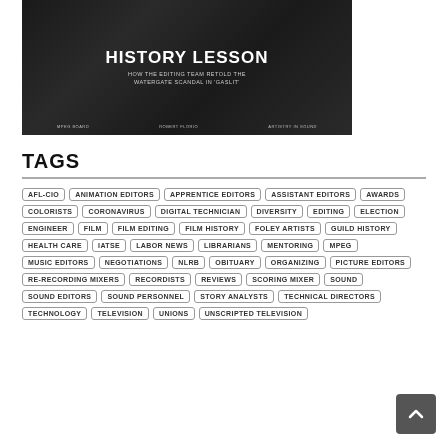[Figure (photo): Photo with text overlay: 'HISTORY LESSON – HOW THE EDITING TEAM RETOLD THE WATERGATE SCANDAL IN GASLIT'. Bottom credits: MPEG BOARD, ROBERT FLORIO, ARTISTRY IN SOUND.]
TAGS
AFL-CIO
ANIMATION EDITORS
APPRENTICE EDITORS
ASSISTANT EDITORS
AWARDS
COLORISTS
CORONAVIRUS
DIGITAL TECHNICIAN
DIVERSITY
EDITING
ELECTION
ENGINEER
FILM
FILM EDITING
FILM HISTORY
FOLEY ARTISTS
GUILD HISTORY
HEALTH CARE
IATSE
LABOR NEWS
LIBRARIANS
MENTORING
MPEG
MUSIC EDITORS
NEGOTIATIONS
NLRB
OBITUARY
ORGANIZING
PICTURE EDITORS
RE-RECORDING MIXERS
RECORDISTS
REVIEWS
SCORING MIXER
SOUND
SOUND EDITORS
SOUND PERSONNEL
STORY ANALYSTS
TECHNICAL DIRECTORS
TECHNOLOGY
TELEVISION
UNIONS
UNSCRIPTED TELEVISION